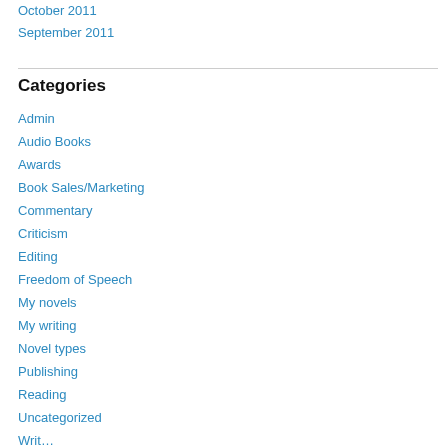October 2011
September 2011
Categories
Admin
Audio Books
Awards
Book Sales/Marketing
Commentary
Criticism
Editing
Freedom of Speech
My novels
My writing
Novel types
Publishing
Reading
Uncategorized
Writing